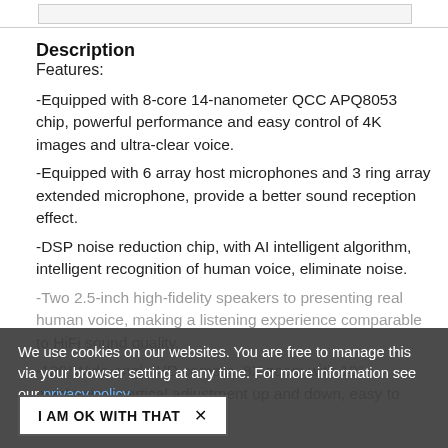Description
Features:
-Equipped with 8-core 14-nanometer QCC APQ8053 chip, powerful performance and easy control of 4K images and ultra-clear voice.
-Equipped with 6 array host microphones and 3 ring array extended microphone, provide a better sound reception effect.
-DSP noise reduction chip, with AI intelligent algorithm, intelligent recognition of human voice, eliminate noise.
-Two 2.5-inch high-fidelity speakers to presenting real human voice, making a listening experience comparable to HiFi sound quality.
-120°Wide-angle HD camera, 8X zoom with 10° mechanical vertical adjustment up and down, easy to
We use cookies on our websites. You are free to manage this via your browser setting at any time. For more information see our privacy policy.
I AM OK WITH THAT ✕